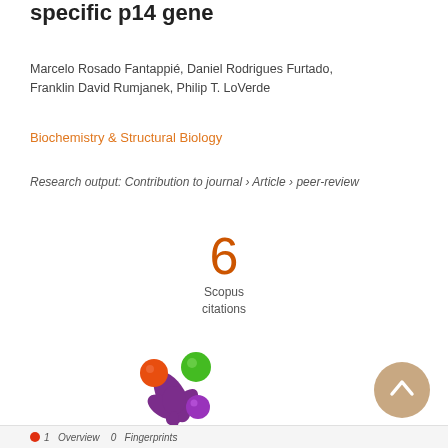specific p14 gene
Marcelo Rosado Fantappié, Daniel Rodrigues Furtado, Franklin David Rumjanek, Philip T. LoVerde
Biochemistry & Structural Biology
Research output: Contribution to journal › Article › peer-review
6 Scopus citations
[Figure (logo): Altmetric logo with colorful circles and splash shape in purple, orange, green, and purple]
[Figure (other): Scroll-to-top button, circular tan/beige color with upward chevron]
1 Overview 0 Fingerprints